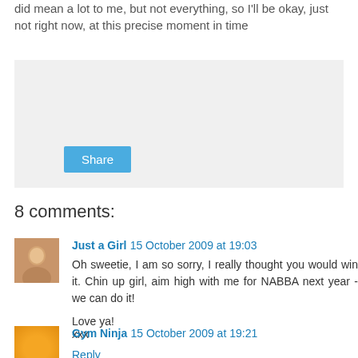did mean a lot to me, but not everything, so I'll be okay, just not right now, at this precise moment in time
[Figure (other): Share button area with light gray background]
8 comments:
Just a Girl  15 October 2009 at 19:03
Oh sweetie, I am so sorry, I really thought you would win it. Chin up girl, aim high with me for NABBA next year - we can do it!

Love ya!
xxx
Reply
Gym Ninja  15 October 2009 at 19:21